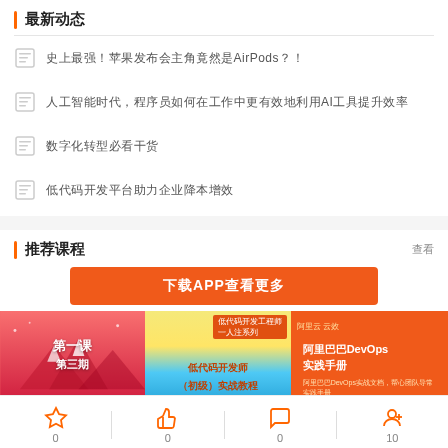最新动态
史上最强！苹果发布会主角竟然是AirPods？！
人工智能时代，程序员如何在工作中更有效地利用AI工具提升效率
数字化转型必看干货
低代码开发平台助力企业降本增效
推荐课程
查看
[Figure (infographic): Orange banner with text: 下载APP查看更多]
[Figure (illustration): Pink card: 第一课 第三期]
[Figure (illustration): Yellow/blue card: 低代码开发师（初级）实战教程]
[Figure (illustration): Orange card: 阿里巴巴DevOps实践手册]
0  0  0  10